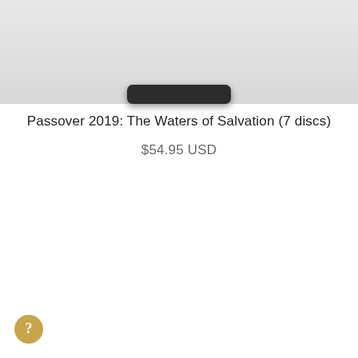[Figure (photo): Product image showing dark disc/device shape against a light gray background]
Passover 2019: The Waters of Salvation (7 discs)
$54.95 USD